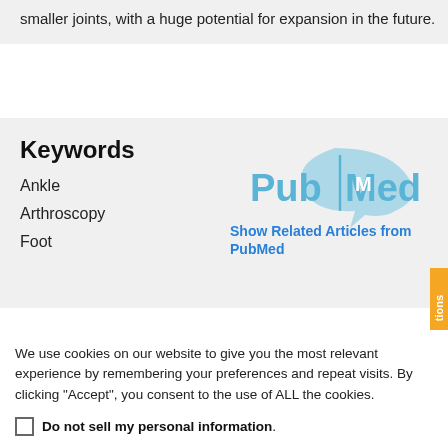smaller joints, with a huge potential for expansion in the future.
Keywords
[Figure (logo): PubMed logo with stylized speech bubble icon in light blue]
Show Related Articles from PubMed
Ankle
Arthroscopy
Foot
We use cookies on our website to give you the most relevant experience by remembering your preferences and repeat visits. By clicking “Accept”, you consent to the use of ALL the cookies.
Do not sell my personal information.